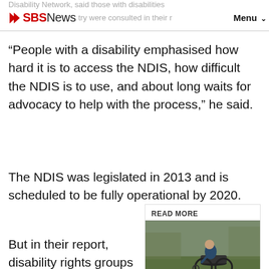Disability Network, said those with disabilities ... try were consulted in their r... SBS News Menu
“People with a disability emphasised how hard it is to access the NDIS, how difficult the NDIS is to use, and about long waits for advocacy to help with the process,” he said.
The NDIS was legislated in 2013 and is scheduled to be fully operational by 2020.
[Figure (photo): READ MORE box with a photo of a person in a wheelchair]
But in their report, disability rights groups said difficulties